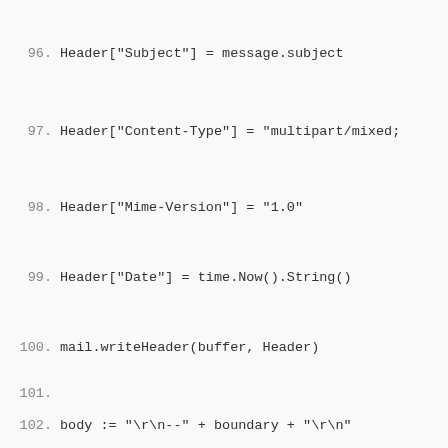96.  Header["Subject"] = message.subject
97.  Header["Content-Type"] = "multipart/mixed;
98.  Header["Mime-Version"] = "1.0"
99.  Header["Date"] = time.Now().String()
100. mail.writeHeader(buffer, Header)
101.
102. body := "\r\n--" + boundary + "\r\n"